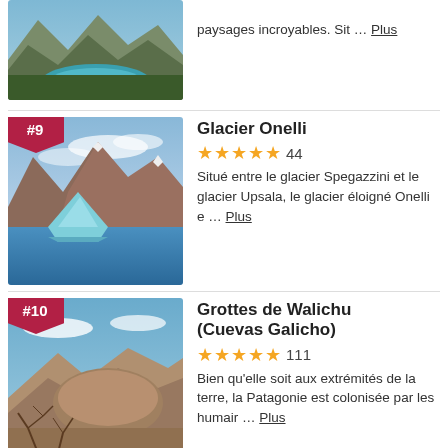[Figure (photo): Mountain lake landscape with turquoise water surrounded by rocky mountains and green forest]
paysages incroyables. Sit … Plus
[Figure (photo): Glacier Onelli with blue iceberg floating in water with snow-capped mountains in background]
Glacier Onelli
44
Situé entre le glacier Spegazzini et le glacier Upsala, le glacier éloigné Onelli e … Plus
[Figure (photo): Grottes de Walichu cave entrance with rocks and dry wood branches]
Grottes de Walichu (Cuevas Galicho)
111
Bien qu'elle soit aux extrémités de la terre, la Patagonie est colonisée par les humair … Plus